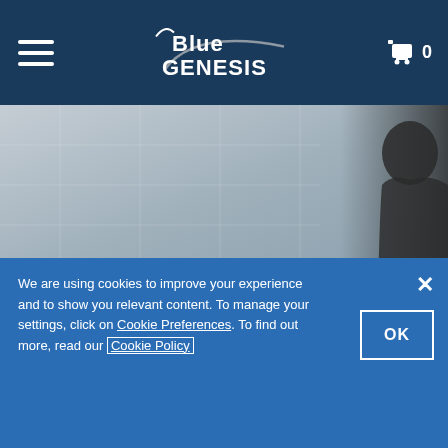Blue Genesis navigation bar with hamburger menu, logo, and cart (0 items)
[Figure (photo): Hero background image showing a blurred indoor scene with a person silhouette on the right side]
TESTIMONIALS
[Figure (illustration): Blue circular icon with large quotation marks]
We are using cookies to improve your experience and to show you relevant content. To manage your settings, click on Cookie Preferences. To find out more, read our Cookie Policy